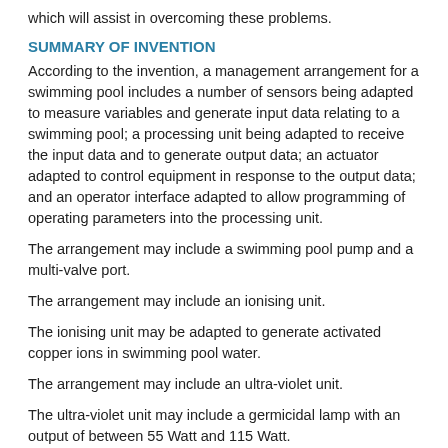which will assist in overcoming these problems.
SUMMARY OF INVENTION
According to the invention, a management arrangement for a swimming pool includes a number of sensors being adapted to measure variables and generate input data relating to a swimming pool; a processing unit being adapted to receive the input data and to generate output data; an actuator adapted to control equipment in response to the output data; and an operator interface adapted to allow programming of operating parameters into the processing unit.
The arrangement may include a swimming pool pump and a multi-valve port.
The arrangement may include an ionising unit.
The ionising unit may be adapted to generate activated copper ions in swimming pool water.
The arrangement may include an ultra-violet unit.
The ultra-violet unit may include a germicidal lamp with an output of between 55 Watt and 115 Watt.
The arrangement may include a pool refill valve adapted to open or close a water supply for allowing extra water to be poured into the swimming pool.